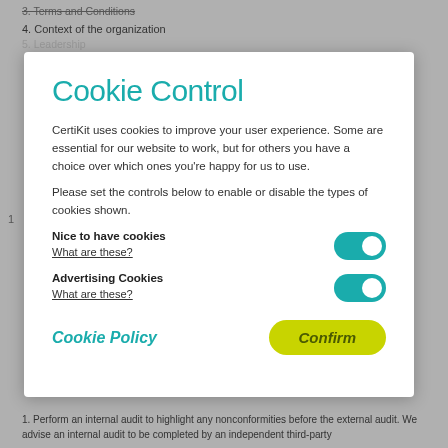4. Context of the organization
Cookie Control
CertiKit uses cookies to improve your user experience. Some are essential for our website to work, but for others you have a choice over which ones you're happy for us to use.
Please set the controls below to enable or disable the types of cookies shown.
Nice to have cookies
What are these?
[Figure (infographic): Toggle switch in ON (teal) state for Nice to have cookies]
Advertising Cookies
What are these?
[Figure (infographic): Toggle switch in ON (teal) state for Advertising Cookies]
Cookie Policy
Confirm
1. Perform an internal audit to highlight any nonconformities before the external audit. We advise an internal audit to be completed by an independent third-party